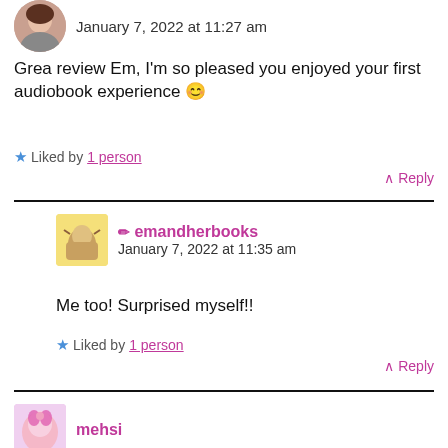January 7, 2022 at 11:27 am
Grea review Em, I'm so pleased you enjoyed your first audiobook experience 😊
★ Liked by 1 person
↑ Reply
✏ emandherbooks
January 7, 2022 at 11:35 am
Me too! Surprised myself!!
★ Liked by 1 person
↑ Reply
mehsi